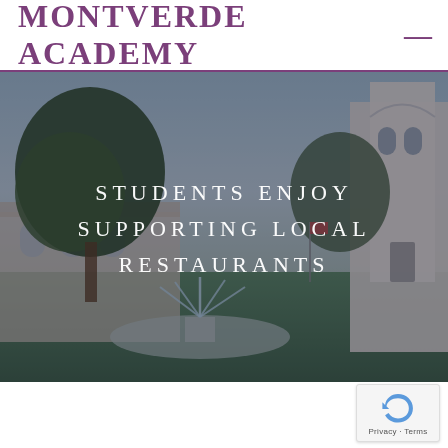Montverde Academy
[Figure (photo): Campus photo of Montverde Academy showing a fountain, trees, and a white bell tower building, with overlaid text 'STUDENTS ENJOY SUPPORTING LOCAL RESTAURANTS']
STUDENTS ENJOY SUPPORTING LOCAL RESTAURANTS
[Figure (other): Google reCAPTCHA badge with Privacy and Terms links]